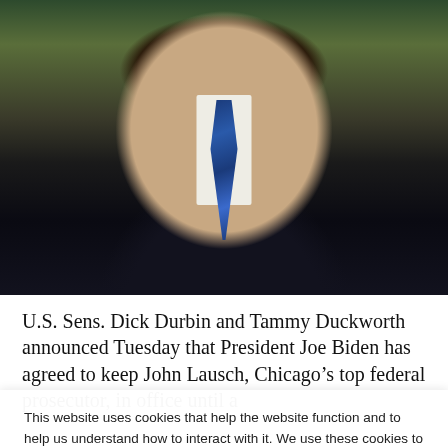[Figure (photo): Photo of a man in a dark pinstripe suit with a blue striped tie, sitting or standing, likely in an office or studio setting with a blurred background of bookshelves and walls.]
U.S. Sens. Dick Durbin and Tammy Duckworth announced Tuesday that President Joe Biden has agreed to keep John Lausch, Chicago’s top federal prosecutor, in office until a
This website uses cookies that help the website function and to help us understand how to interact with it. We use these cookies to provide you with improved and customized user-experience. If you continue to the use of the website, we assume that you are okay with it.
Got It